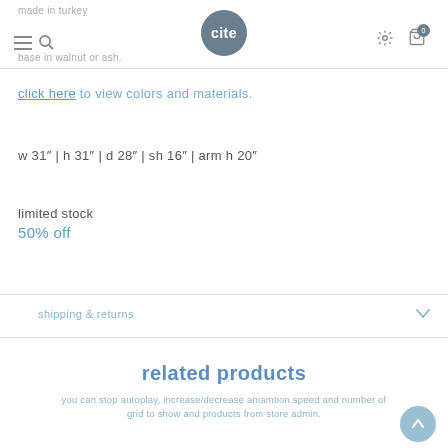made in turkey / base in walnut or ash.
click here to view colors and materials.
w 31" | h 31" | d 28" | sh 16" | arm h 20"
limited stock
50% off
shipping & returns
related products
you can stop autoplay, increase/decrease aniamtion speed and number of grid to show and products from store admin.